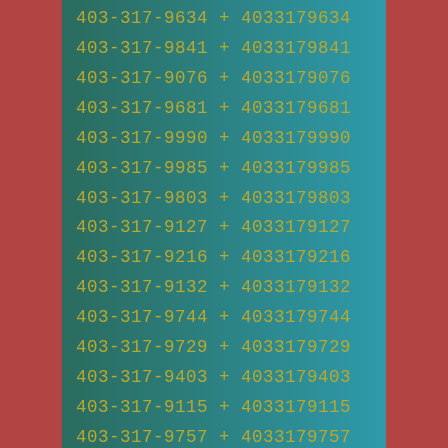403-317-9634 + 4033179634
403-317-9841 + 4033179841
403-317-9076 + 4033179076
403-317-9681 + 4033179681
403-317-9990 + 4033179990
403-317-9985 + 4033179985
403-317-9803 + 4033179803
403-317-9127 + 4033179127
403-317-9216 + 4033179216
403-317-9132 + 4033179132
403-317-9744 + 4033179744
403-317-9729 + 4033179729
403-317-9403 + 4033179403
403-317-9115 + 4033179115
403-317-9757 + 4033179757
403-317-9333 + 4033179333
403-317-9612 + 4033179612
403-317-9434 + 4033179434
403-317-9650 + 4033179650
403-317-9978 + 4033179978
403-317-9036 + 4033179036
403-317-9819 + 4033179819
403-317-9837 + 4033179837